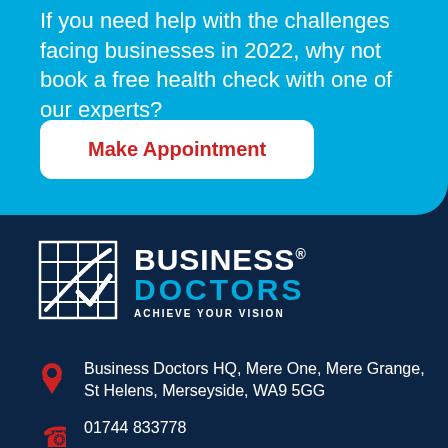If you need help with the challenges facing businesses in 2022, why not book a free health check with one of our experts?
Make Appointment
[Figure (logo): Business Doctors logo — grid/chart icon with BUSINESS DOCTORS ACHIEVE YOUR VISION text]
Business Doctors HQ, Mere One, Mere Grange, St Helens, Merseyside, WA9 5GG
01744 833778